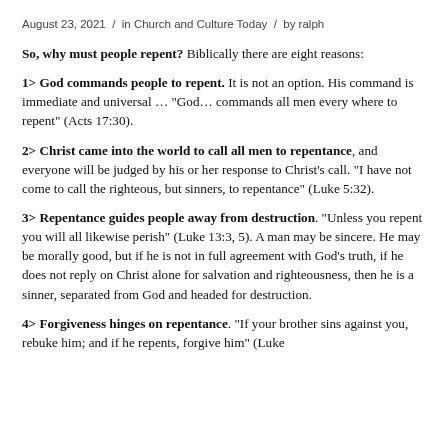August 23, 2021  /  in Church and Culture Today  /  by ralph
So, why must people repent? Biblically there are eight reasons:
1> God commands people to repent. It is not an option. His command is immediate and universal … "God… commands all men every where to repent" (Acts 17:30).
2> Christ came into the world to call all men to repentance, and everyone will be judged by his or her response to Christ’s call. “I have not come to call the righteous, but sinners, to repentance” (Luke 5:32).
3> Repentance guides people away from destruction. “Unless you repent you will all likewise perish” (Luke 13:3, 5). A man may be sincere. He may be morally good, but if he is not in full agreement with God’s truth, if he does not reply on Christ alone for salvation and righteousness, then he is a sinner, separated from God and headed for destruction.
4> Forgiveness hinges on repentance. “If your brother sins against you, rebuke him; and if he repents, forgive him” (Luke